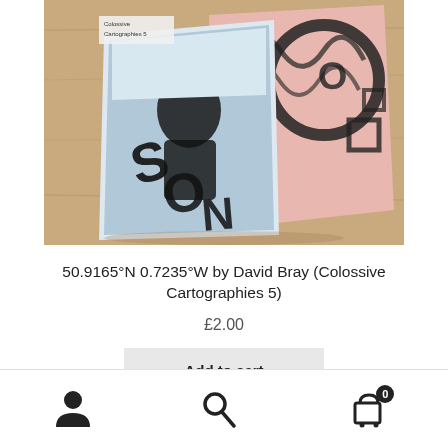[Figure (photo): Product photo showing an open artist book/zine with black and white photography and pink pages with graphic lettering, laid on a wooden surface. The zine is titled 'Colossive Cartographies 5'.]
50.9165°N 0.7235°W by David Bray (Colossive Cartographies 5)
£2.00
Add to cart